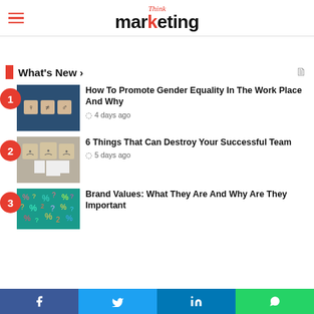Think marketing
What's New ›
How To Promote Gender Equality In The Work Place And Why — 4 days ago
6 Things That Can Destroy Your Successful Team — 5 days ago
Brand Values: What They Are And Why Are They Important
Facebook | Twitter | LinkedIn | WhatsApp